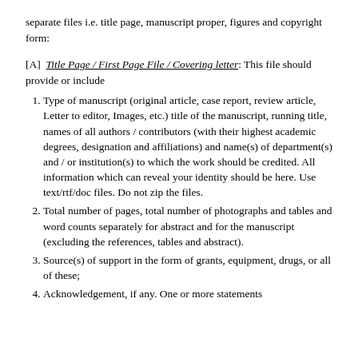separate files i.e. title page, manuscript proper, figures and copyright form:
[A]  Title Page / First Page File / Covering letter: This file should provide or include
1. Type of manuscript (original article, case report, review article, Letter to editor, Images, etc.) title of the manuscript, running title, names of all authors / contributors (with their highest academic degrees, designation and affiliations) and name(s) of department(s) and / or institution(s) to which the work should be credited. All information which can reveal your identity should be here. Use text/rtf/doc files. Do not zip the files.
2. Total number of pages, total number of photographs and tables and word counts separately for abstract and for the manuscript (excluding the references, tables and abstract).
3. Source(s) of support in the form of grants, equipment, drugs, or all of these;
4. Acknowledgement, if any. One or more statements